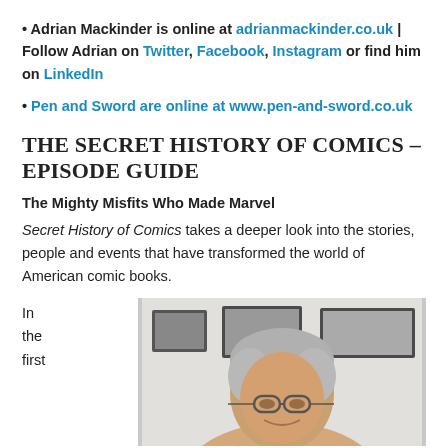• Adrian Mackinder is online at adrianmackinder.co.uk | Follow Adrian on Twitter, Facebook, Instagram or find him on LinkedIn
• Pen and Sword are online at www.pen-and-sword.co.uk
THE SECRET HISTORY OF COMICS – EPISODE GUIDE
The Mighty Misfits Who Made Marvel
Secret History of Comics takes a deeper look into the stories, people and events that have transformed the world of American comic books.
In the first
[Figure (photo): Photograph of an elderly man with grey hair and glasses, smiling, in a bright indoor setting with framed pictures on the wall in the background.]